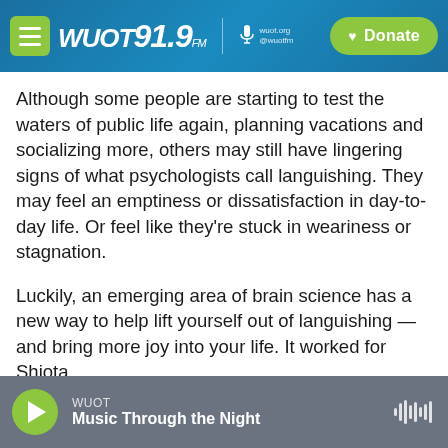WUOT 91.9 FM | wuot.org @wuotfm | Donate
Although some people are starting to test the waters of public life again, planning vacations and socializing more, others may still have lingering signs of what psychologists call languishing. They may feel an emptiness or dissatisfaction in day-to-day life. Or feel like they're stuck in weariness or stagnation.
Luckily, an emerging area of brain science has a new way to help lift yourself out of languishing — and bring more joy into your life. It worked for Shiota.
WUOT | Music Through the Night